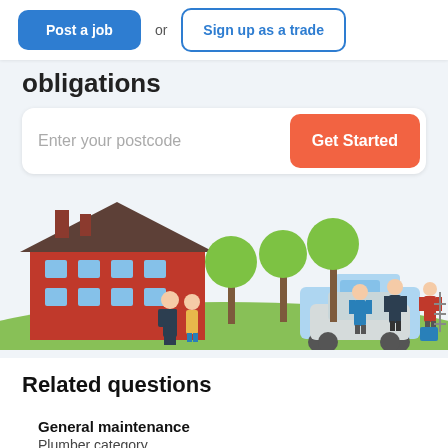Post a job or Sign up as a trade
obligations
Enter your postcode
[Figure (illustration): Illustrated scene with a red brick house, two people standing outside, green trees, and tradespeople with vans working on a car on a green lawn.]
Related questions
General maintenance
Plumber category
10 answers